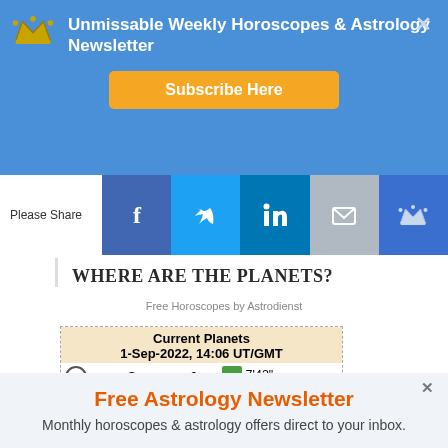Unmissable Weekly Horoscopes & Astrology Newsletter
Subscribe Here
Please Share
Where Are The Planets?
Free Horoscopes by Astrodienst
| Current Planets | 1-Sep-2022, 14:06 UT/GMT |
| --- | --- |
| Sun | 9 | 7'42" |
Free Astrology Newsletter
Monthly horoscopes & astrology offers direct to your inbox.
Sign up today!